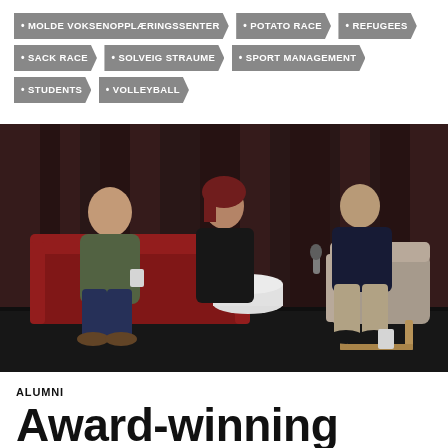MOLDE VOKSENOPPLÆRINGSSENTER
POTATO RACE
REFUGEES
SACK RACE
SOLVEIG STRAUME
SPORT MANAGEMENT
STUDENTS
VOLLEYBALL
[Figure (photo): Three people seated on stage in a panel discussion setting. Left: young man in green sweater holding microphone and cup. Center: woman in black jacket with red hair. Right: man in dark navy sweater holding microphone, seated in a grey chair. Red sofa visible behind, dark curtains in background, white cylindrical table on stage.]
ALUMNI
Award-winning